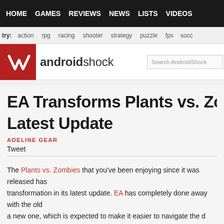HOME  GAMES  REVIEWS  NEWS  LISTS  VIDEOS
try:  action  rpg  racing  shooter  strategy  puzzle  fps  socc
androidshock
EA Transforms Plants vs. Zombies in Latest Update
ADELINE GEAR
Tweet
The Plants vs. Zombies that you've been enjoying since it was released has transformation in its latest update. EA has completely done away with the old a new one, which is expected to make it easier to navigate the d three stage mapping structure which took you through Ancient E now have a single long linear path to traverse that will show you beforehand